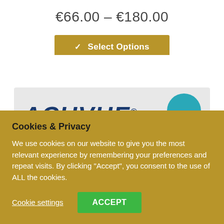€66.00 – €180.00
✓ Select Options
[Figure (photo): Product box of ACUVUE contact lenses, light gray box with dark blue ACUVUE text and teal circle element on the right]
Cookies & Privacy
We use cookies on our website to give you the most relevant experience by remembering your preferences and repeat visits. By clicking "Accept", you consent to the use of ALL the cookies.
Cookie settings
ACCEPT